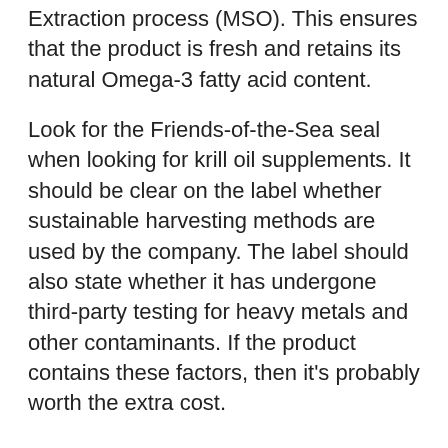Extraction process (MSO). This ensures that the product is fresh and retains its natural Omega-3 fatty acid content.
Look for the Friends-of-the-Sea seal when looking for krill oil supplements. It should be clear on the label whether sustainable harvesting methods are used by the company. The label should also state whether it has undergone third-party testing for heavy metals and other contaminants. If the product contains these factors, then it's probably worth the extra cost.
Which Lowers Cholesterol Better Krill Oil Or Fish Oil
Algae Vs Krill Oil